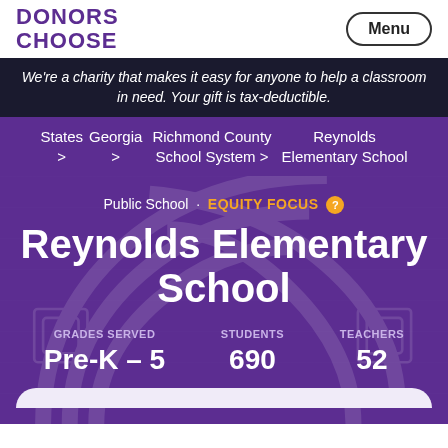DONORS CHOOSE
We're a charity that makes it easy for anyone to help a classroom in need. Your gift is tax-deductible.
States > Georgia > Richmond County School System > Reynolds Elementary School
Public School · EQUITY FOCUS ?
Reynolds Elementary School
GRADES SERVED Pre-K – 5 | STUDENTS 690 | TEACHERS 52